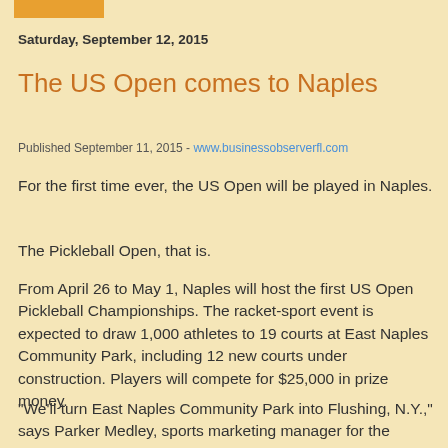Saturday, September 12, 2015
The US Open comes to Naples
Published September 11, 2015 - www.businessobserverfl.com
For the first time ever, the US Open will be played in Naples.
The Pickleball Open, that is.
From April 26 to May 1, Naples will host the first US Open Pickleball Championships. The racket-sport event is expected to draw 1,000 athletes to 19 courts at East Naples Community Park, including 12 new courts under construction. Players will compete for $25,000 in prize money.
“We’ll turn East Naples Community Park into Flushing, N.Y.,” says Parker Medley, sports marketing manager for the Naples, Marco Island, Everglades Convention and Visitor...